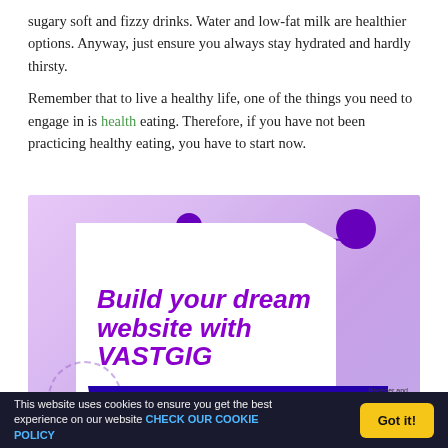sugary soft and fizzy drinks. Water and low-fat milk are healthier options. Anyway, just ensure you always stay hydrated and hardly thirsty.
Remember that to live a healthy life, one of the things you need to engage in is health eating. Therefore, if you have not been practicing healthy eating, you have to start now.
[Figure (illustration): Advertisement banner for VASTGIG web hosting. Purple gradient background with a white tag shape containing the text 'Build your dream website with VASTGIG' in bold italic purple. Blue ribbon showing 'Starting from 300/month'. Right side shows 'Register and host your Website in US, UK, Bulgaria and pay in Naira. VASTGIG UNLIMITED WEB HOSTING'. Below the ad is a dark green bar with 'GIVE YOUR OPINION' in white.]
This website uses cookies to ensure you get the best experience on our website CHECK OUR COOKIE POLICY